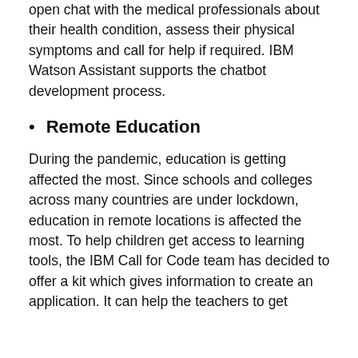open chat with the medical professionals about their health condition, assess their physical symptoms and call for help if required. IBM Watson Assistant supports the chatbot development process.
Remote Education
During the pandemic, education is getting affected the most. Since schools and colleges across many countries are under lockdown, education in remote locations is affected the most. To help children get access to learning tools, the IBM Call for Code team has decided to offer a kit which gives information to create an application. It can help the teachers to get